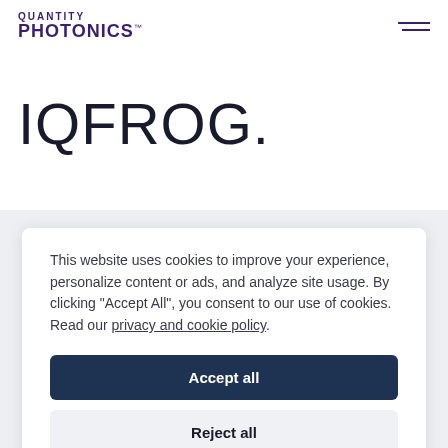QUANTITY PHOTONICS™
IQFROG.
This website uses cookies to improve your experience, personalize content or ads, and analyze site usage. By clicking "Accept All", you consent to our use of cookies. Read our privacy and cookie policy.
Accept all
Reject all